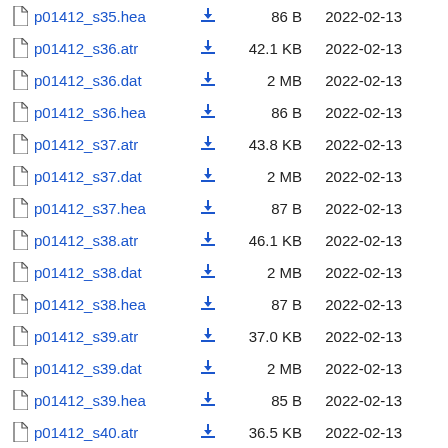p01412_s35.hea  86 B  2022-02-13
p01412_s36.atr  42.1 KB  2022-02-13
p01412_s36.dat  2 MB  2022-02-13
p01412_s36.hea  86 B  2022-02-13
p01412_s37.atr  43.8 KB  2022-02-13
p01412_s37.dat  2 MB  2022-02-13
p01412_s37.hea  87 B  2022-02-13
p01412_s38.atr  46.1 KB  2022-02-13
p01412_s38.dat  2 MB  2022-02-13
p01412_s38.hea  87 B  2022-02-13
p01412_s39.atr  37.0 KB  2022-02-13
p01412_s39.dat  2 MB  2022-02-13
p01412_s39.hea  85 B  2022-02-13
p01412_s40.atr  36.5 KB  2022-02-13